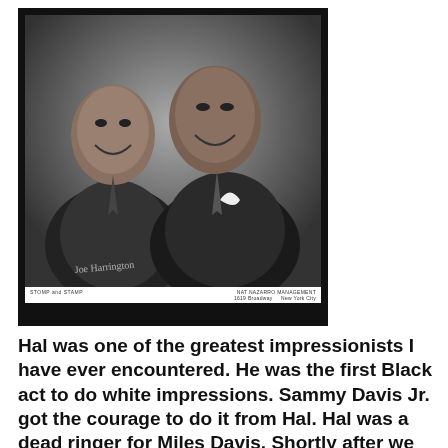[Figure (photo): Black and white promotional photograph of two young Black men in suits smiling, with a signature on the photo. Caption at bottom reads 'STOMP and STAMP' on left and 'NAT NAZARRO MANAGEMENT, 1619 Broadway, New York City' on right.]
Hal was one of the greatest impressionists I have ever encountered. He was the first Black act to do white impressions. Sammy Davis Jr. got the courage to do it from Hal. Hal was a dead ringer for Miles Davis. Shortly after we recorded If I Were President, I was